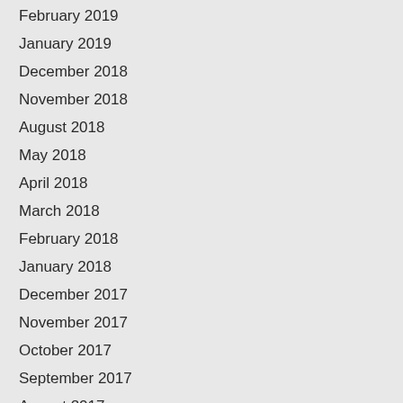February 2019
January 2019
December 2018
November 2018
August 2018
May 2018
April 2018
March 2018
February 2018
January 2018
December 2017
November 2017
October 2017
September 2017
August 2017
July 2017
June 2017
May 2017
March 2017
February 2017